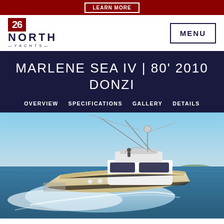LEARN MORE
[Figure (logo): 26 North Yachts logo with red flag and dark navy text]
MENU
MARLENE SEA IV | 80' 2010 DONZI
OVERVIEW   SPECIFICATIONS   GALLERY   DETAILS
[Figure (photo): A large white sport fishing yacht (Donzi) underway at speed on blue ocean water, creating a large wake. The vessel has an extended outrigger and flybridge tower. Sky is mostly clear and blue.]